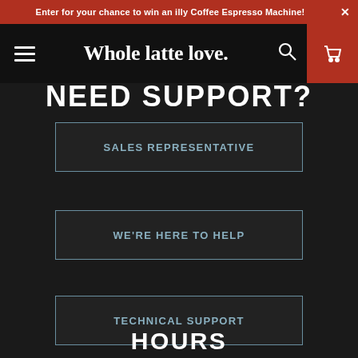Enter for your chance to win an illy Coffee Espresso Machine! ×
[Figure (logo): Whole latte love. website navigation bar with hamburger menu, logo, search icon, and cart icon]
NEED SUPPORT?
SALES REPRESENTATIVE
WE'RE HERE TO HELP
TECHNICAL SUPPORT
HOURS